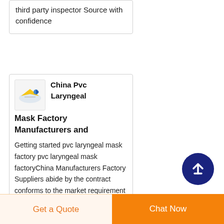third party inspector Source with confidence
China Pvc Laryngeal Mask Factory Manufacturers and
Getting started pvc laryngeal mask factory pvc laryngeal mask factoryChina Manufacturers Factory Suppliers abide by the contract conforms to the market requirement joins in the market competition by its high quality as well as
[Figure (logo): Small logo with stylized bird/plane icon in yellow and blue on light background]
[Figure (other): Dark navy circular FAB button with upward arrow icon]
Get a Quote
Chat Now